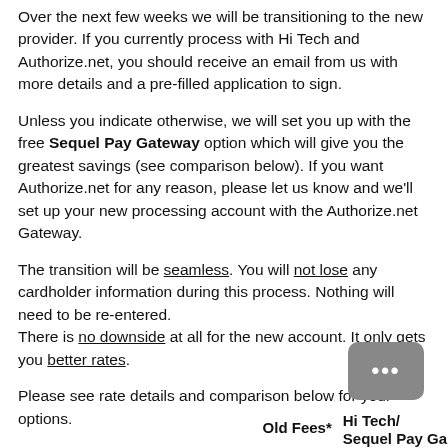Over the next few weeks we will be transitioning to the new provider. If you currently process with Hi Tech and Authorize.net, you should receive an email from us with more details and a pre-filled application to sign.
Unless you indicate otherwise, we will set you up with the free Sequel Pay Gateway option which will give you the greatest savings (see comparison below). If you want Authorize.net for any reason, please let us know and we'll set up your new processing account with the Authorize.net Gateway.
The transition will be seamless. You will not lose any cardholder information during this process. Nothing will need to be re-entered. There is no downside at all for the new account. It only gets you better rates.
Please see rate details and comparison below for your options.
|  | Old Fees* | Hi Tech/ Sequel Pay Ga... |
| --- | --- | --- |